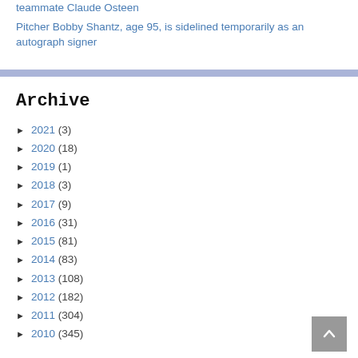teammate Claude Osteen
Pitcher Bobby Shantz, age 95, is sidelined temporarily as an autograph signer
Archive
► 2021 (3)
► 2020 (18)
► 2019 (1)
► 2018 (3)
► 2017 (9)
► 2016 (31)
► 2015 (81)
► 2014 (83)
► 2013 (108)
► 2012 (182)
► 2011 (304)
► 2010 (345)